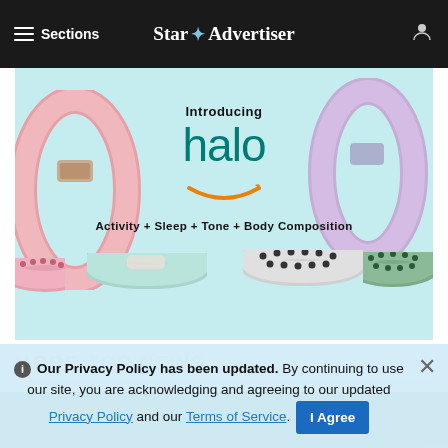≡ Sections  Star Advertiser
[Figure (photo): Amazon Halo fitness wristband advertisement on light blue background. Shows multiple wristbands in pink, purple, mint, black-dotted, and green colors. Text reads 'Introducing halo' with Amazon smile logo, and 'Activity + Sleep + Tone + Body Composition'.]
MORE TOP NEWS
[Figure (photo): Partial view of an outdoor green landscape image.]
Our Privacy Policy has been updated. By continuing to use our site, you are acknowledging and agreeing to our updated Privacy Policy and our Terms of Service. I Agree